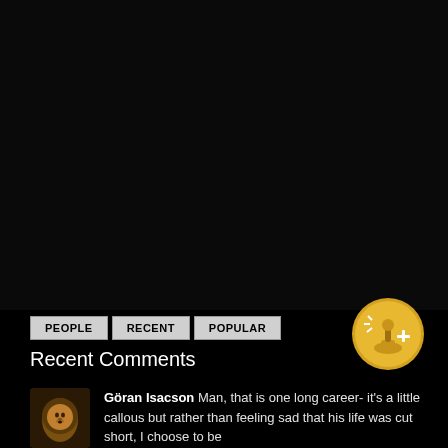[Figure (other): Large dark/black background area occupying the top portion of the page, appears to be a video or image placeholder]
[Figure (other): Navigation tabs: PEOPLE, RECENT, POPULAR buttons in light grey]
[Figure (logo): Gold circular badge icon with joystick/gaming controller graphic and plus sign, positioned at top right of comment section]
Recent Comments
[Figure (photo): Small avatar thumbnail showing a lion profile image]
Göran Isacson Man, that is one long career- it's a little callous but rather than feeling sad that his life was cut short, I choose to be